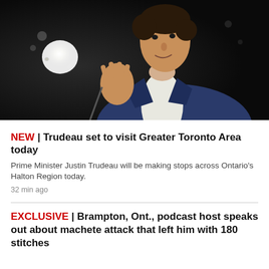[Figure (photo): Photo of Prime Minister Justin Trudeau in a blue blazer gesturing with his hand, speaking at a dark event with bright light in background]
NEW | Trudeau set to visit Greater Toronto Area today
Prime Minister Justin Trudeau will be making stops across Ontario's Halton Region today.
32 min ago
EXCLUSIVE | Brampton, Ont., podcast host speaks out about machete attack that left him with 180 stitches